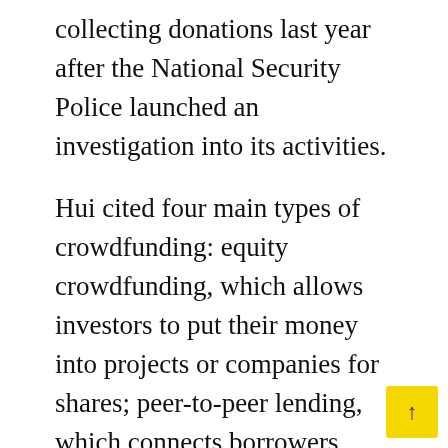collecting donations last year after the National Security Police launched an investigation into its activities.
Hui cited four main types of crowdfunding: equity crowdfunding, which allows investors to put their money into projects or companies for shares; peer-to-peer lending, which connects borrowers with online lenders who offer unsecured loans; those of a paid nature, where fundraisers offer products or services in exchange for funding; and finally, charitable donations.
To some extent, crowdfunding is governed by the laws of Hong Kong. But without regulations specifically designed to oversee the process, some risks existed, he said. In addition to funding